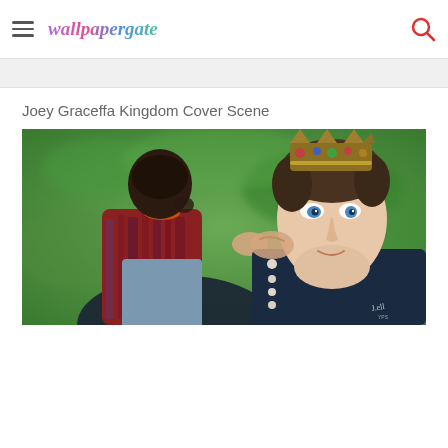wallpapergate
Joey Graceffa Kingdom Cover Scene
[Figure (photo): Two male figures in a dramatic scene — one wearing a jeweled crown and dark jacket, the other in a red/blue striped vest, leaning close face to face against a green blurred background. Appears to be a digital painting or stylized photo from a fantasy/kingdom-themed production.]